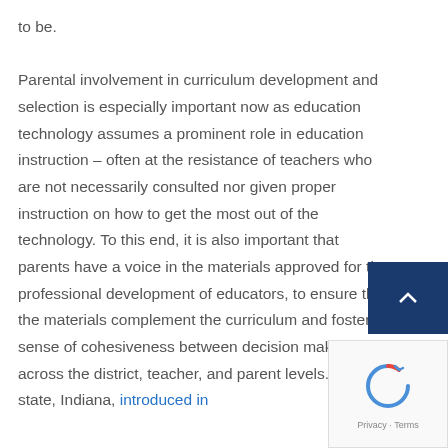to be.

Parental involvement in curriculum development and selection is especially important now as education technology assumes a prominent role in education instruction – often at the resistance of teachers who are not necessarily consulted nor given proper instruction on how to get the most out of the technology. To this end, it is also important that parents have a voice in the materials approved for the professional development of educators, to ensure that the materials complement the curriculum and foster a sense of cohesiveness between decision makers across the district, teacher, and parent levels. One state, Indiana, introduced in